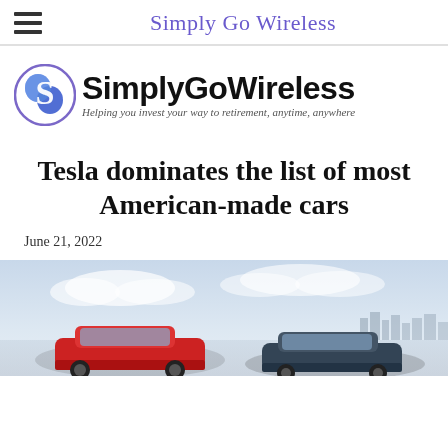Simply Go Wireless
[Figure (logo): SimplyGoWireless logo with circular S icon and tagline: Helping you invest your way to retirement, anytime, anywhere]
Tesla dominates the list of most American-made cars
June 21, 2022
[Figure (photo): Tesla cars parked outdoors with a light blue sky background and city skyline silhouette]